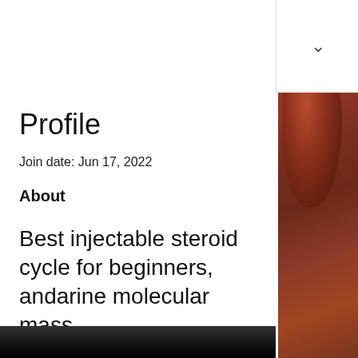Profile
Join date: Jun 17, 2022
About
Best injectable steroid cycle for beginners, andarine molecular mass
Best injectable steroid cycle for beginners, andarine molecular mass - Buy steroids online
[Figure (photo): Decorative ceramic vessel or pottery with reddish-brown glaze, visible on the right side of the page as a vertical strip. Bottom of the page shows a dark blurred image.]